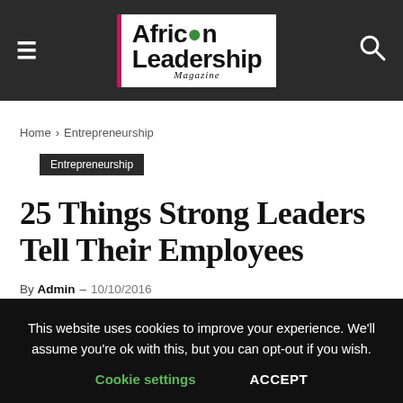African Leadership Magazine
Home › Entrepreneurship
Entrepreneurship
25 Things Strong Leaders Tell Their Employees
By Admin – 10/10/2016
This website uses cookies to improve your experience. We'll assume you're ok with this, but you can opt-out if you wish. Cookie settings ACCEPT